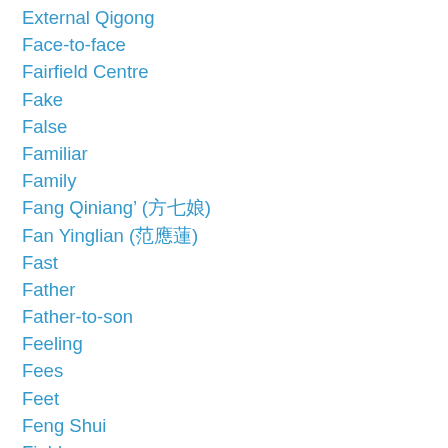External Qigong
Face-to-face
Fairfield Centre
Fake
False
Familiar
Family
Fang Qiniang' (方七娘)
Fan Yinglian (范應蓮)
Fast
Father
Father-to-son
Feeling
Fees
Feet
Feng Shui
Field
Fight
Fighting
Finger
Fire Power